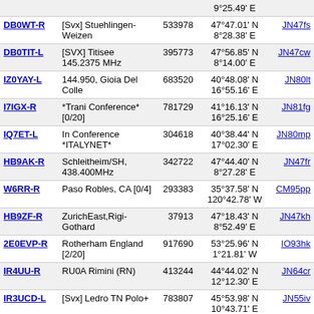| Callsign | Description | ID | Coordinates | Grid | Freq |
| --- | --- | --- | --- | --- | --- |
|  |  |  | 9°25.49' E |  |  |
| DB0WT-R | [Svx] Stuehlingen-Weizen | 533978 | 47°47.01' N 8°28.38' E | JN47fs | 589 |
| DB0TIT-L | [SVX] Titisee 145.2375 MHz | 395773 | 47°56.85' N 8°14.00' E | JN47cw | 589 |
| IZ0YAY-L | 144.950, Gioia Del Colle | 683520 | 40°48.08' N 16°55.16' E | JN80lt | 589 |
| I7IGX-R | *Trani Conference* [0/20] | 781729 | 41°16.13' N 16°25.16' E | JN81fg | 589 |
| IQ7ET-L | In Conference *ITALYNET* | 304618 | 40°38.44' N 17°02.30' E | JN80mp | 589 |
| HB9AK-R | Schleitheim/SH, 438.400MHz | 342722 | 47°44.40' N 8°27.28' E | JN47fr | 589 |
| W6RR-R | Paso Robles, CA [0/4] | 293383 | 35°37.58' N 120°42.78' W | CM95pp | 589 |
| HB9ZF-R | ZurichEast,Rigi-Gothard | 37913 | 47°18.43' N 8°52.49' E | JN47kh | 590 |
| 2E0EVP-R | Rotherham England [2/20] | 917690 | 53°25.96' N 1°21.81' W | IO93hk | 590 |
| IR4UU-R | RU0A Rimini (RN) | 413244 | 44°44.02' N 12°12.30' E | JN64cr | 590 |
| IR3UCD-L | [Svx] Ledro TN Polo+ | 783807 | 45°53.98' N 10°43.71' E | JN55iv | 590 |
| NY7AR-R | Gardiner, MT | 495963 | 45°02.00' N 110°42.00' W | DN45pa | 590 |
| DB0HRH-R | [Svx] Küssaburg 439.200 | 831754 | 47°36.13' N 8°21.33' E | JN47eo | 590 |